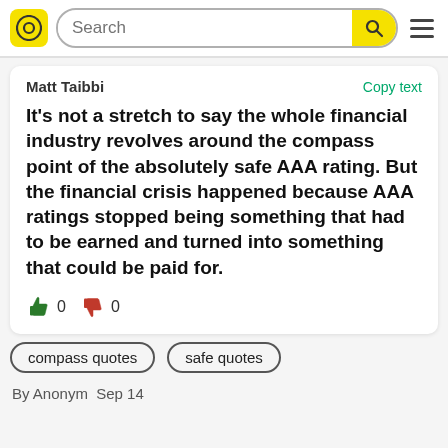Search
Matt Taibbi   Copy text
It's not a stretch to say the whole financial industry revolves around the compass point of the absolutely safe AAA rating. But the financial crisis happened because AAA ratings stopped being something that had to be earned and turned into something that could be paid for.
0  0
compass quotes
safe quotes
By Anonym  Sep 14